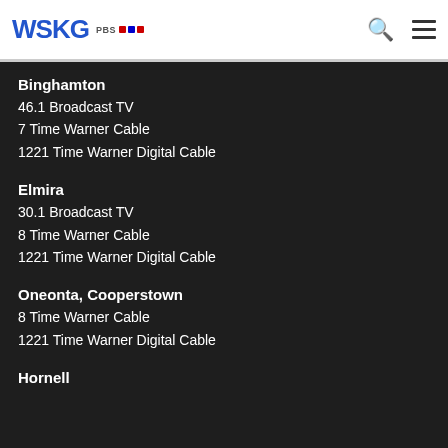WSKG PBS
Binghamton
46.1 Broadcast TV
7 Time Warner Cable
1221 Time Warner Digital Cable
Elmira
30.1 Broadcast TV
8 Time Warner Cable
1221 Time Warner Digital Cable
Oneonta, Cooperstown
8 Time Warner Cable
1221 Time Warner Digital Cable
Hornell